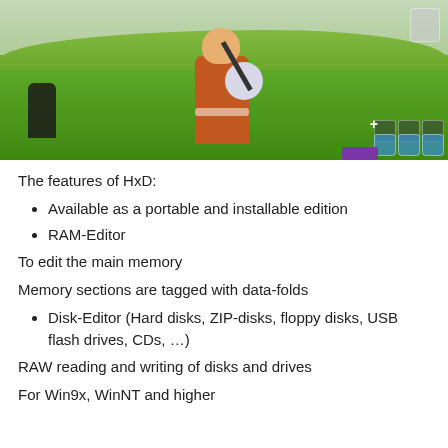[Figure (screenshot): Fortnite gameplay screenshot showing a character in an orange sweater carrying a unicorn pickaxe in a green grassy field, with HUD elements visible in the bottom-right corner including blue gem icons and a purple bar.]
The features of HxD:
Available as a portable and installable edition
RAM-Editor
To edit the main memory
Memory sections are tagged with data-folds
Disk-Editor (Hard disks, ZIP-disks, floppy disks, USB flash drives, CDs, …)
RAW reading and writing of disks and drives
For Win9x, WinNT and higher